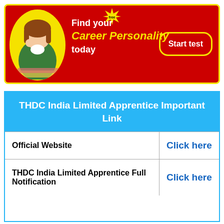[Figure (infographic): Red banner advertisement with yellow border. Shows a student girl in yellow oval on left. Text reads 'Find your Career Personality today' with a 'Start test' button and 'free' starburst badge.]
| THDC India Limited Apprentice Important Link |  |
| --- | --- |
| Official Website | Click here |
| THDC India Limited Apprentice Full Notification | Click here |